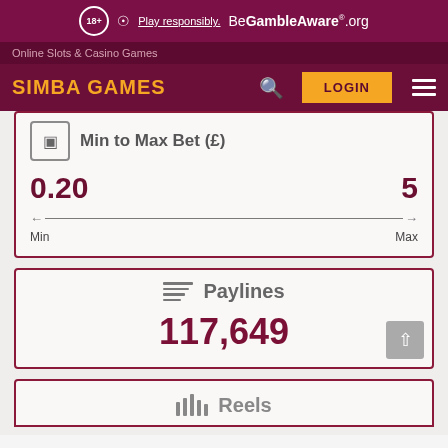18+ Play responsibly. BeGambleAware.org
Online Slots & Casino Games
SIMBA GAMES LOGIN
Min to Max Bet (£)
0.20  5
Min  Max
Paylines
117,649
Reels